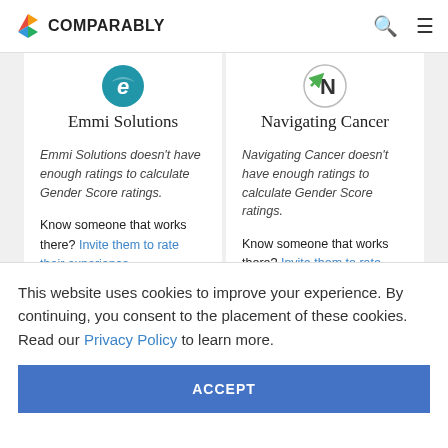COMPARABLY
[Figure (logo): Emmi Solutions company logo - blue circular icon with letter e]
Emmi Solutions
Emmi Solutions doesn't have enough ratings to calculate Gender Score ratings.
Know someone that works there? Invite them to rate their experience.
[Figure (logo): Navigating Cancer company logo - green arrow with N letter]
Navigating Cancer
Navigating Cancer doesn't have enough ratings to calculate Gender Score ratings.
Know someone that works there? Invite them to rate their experience.
This website uses cookies to improve your experience. By continuing, you consent to the placement of these cookies. Read our Privacy Policy to learn more.
ACCEPT